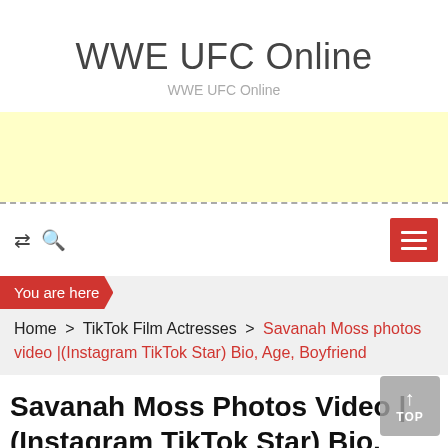WWE UFC Online
WWE UFC Online
[Figure (other): Yellow advertisement banner placeholder]
shuffle and search icons, hamburger menu button
You are here
Home > TikTok Film Actresses > Savanah Moss photos video |(Instagram TikTok Star) Bio, Age, Boyfriend
Savanah Moss Photos Video |(Instagram TikTok Star) Bio, Age, Boyfriend